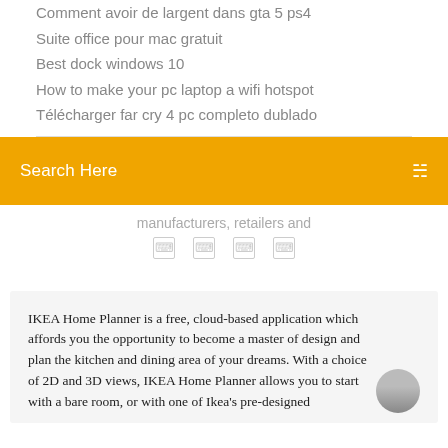Comment avoir de largent dans gta 5 ps4
Suite office pour mac gratuit
Best dock windows 10
How to make your pc laptop a wifi hotspot
Télécharger far cry 4 pc completo dublado
Search Here
manufacturers, retailers and
IKEA Home Planner is a free, cloud-based application which affords you the opportunity to become a master of design and plan the kitchen and dining area of your dreams. With a choice of 2D and 3D views, IKEA Home Planner allows you to start with a bare room, or with one of Ikea's pre-designed